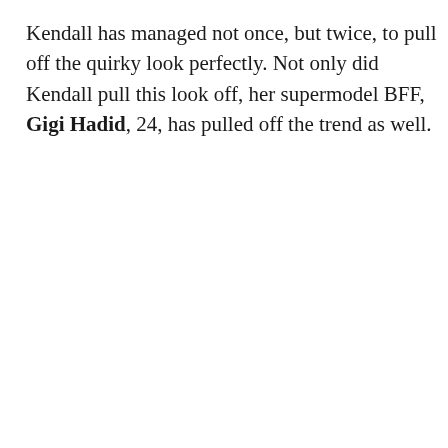Kendall has managed not once, but twice, to pull off the quirky look perfectly. Not only did Kendall pull this look off, her supermodel BFF, Gigi Hadid, 24, has pulled off the trend as well.